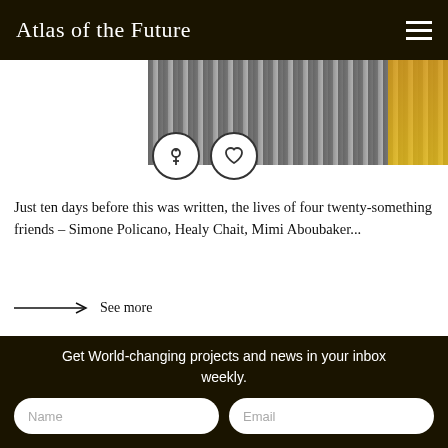Atlas of the Future
[Figure (photo): Partial image of what appears to be wires or bars with yellow/colorful background]
Just ten days before this was written, the lives of four twenty-something friends – Simone Policano, Healy Chait, Mimi Aboubaker...
——→ See more
Ireland (Dublin)
Workouts to do at home or in your 'shed'
[Figure (photo): Two older men's faces visible in a grey-toned card background]
Get World-changing projects and news in your inbox weekly.